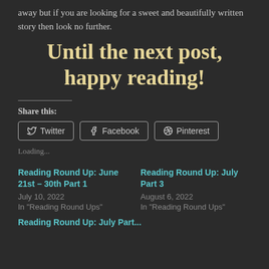away but if you are looking for a sweet and beautifully written story then look no further.
Until the next post, happy reading!
Share this:
Twitter Facebook Pinterest
Loading...
Reading Round Up: June 21st – 30th Part 1
July 10, 2022
In "Reading Round Ups"
Reading Round Up: July Part 3
August 6, 2022
In "Reading Round Ups"
Reading Round Up: July Part...